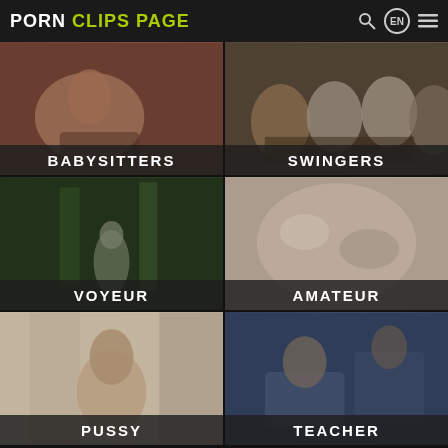PORN CLIPS PAGE
[Figure (screenshot): Video thumbnail grid category: BABYSITTERS]
[Figure (screenshot): Video thumbnail grid category: SWINGERS]
[Figure (screenshot): Video thumbnail grid category: VOYEUR]
[Figure (screenshot): Video thumbnail grid category: AMATEUR]
[Figure (screenshot): Video thumbnail grid category: PUSSY]
[Figure (screenshot): Video thumbnail grid category: TEACHER]